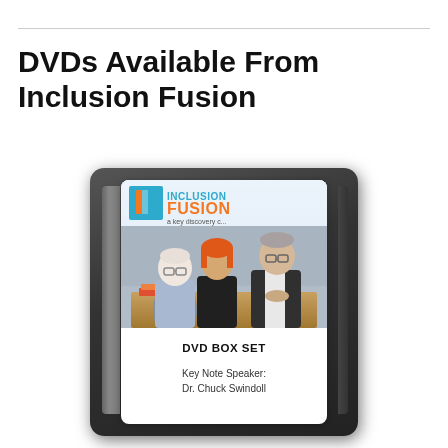DVDs Available From Inclusion Fusion
[Figure (photo): DVD box set case with Inclusion Fusion logo on top portion showing three people in conversation, and white label below reading 'DVD BOX SET' and 'Key Note Speaker: Dr. Chuck Swindoll']